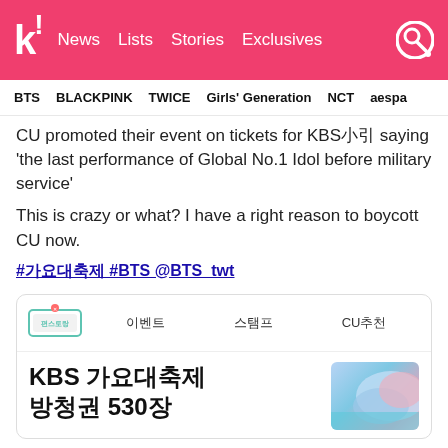k! News Lists Stories Exclusives
BTS BLACKPINK TWICE Girls' Generation NCT aespa
CU promoted their event on tickets for KBS가요대축제 saying 'the last performance of Global No.1 Idol before military service'
This is crazy or what? I have a right reason to boycott CU now.
#가요대축제 #BTS @BTS_twt
[Figure (screenshot): Embedded CU app card showing KBS 가요대축제 방청권 530장 with navigation items 이벤트, 스탬프, CU추천 and a decorative image]